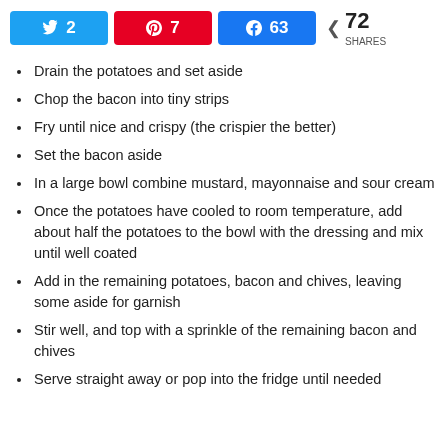[Figure (infographic): Social share bar with Twitter (2), Pinterest (7), Facebook (63), and total 72 SHARES]
Drain the potatoes and set aside
Chop the bacon into tiny strips
Fry until nice and crispy (the crispier the better)
Set the bacon aside
In a large bowl combine mustard, mayonnaise and sour cream
Once the potatoes have cooled to room temperature, add about half the potatoes to the bowl with the dressing and mix until well coated
Add in the remaining potatoes, bacon and chives, leaving some aside for garnish
Stir well, and top with a sprinkle of the remaining bacon and chives
Serve straight away or pop into the fridge until needed